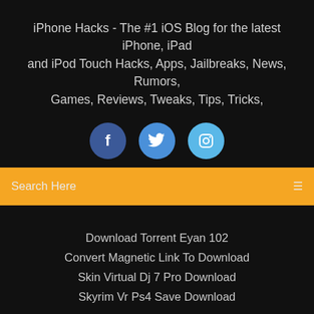iPhone Hacks - The #1 iOS Blog for the latest iPhone, iPad and iPod Touch Hacks, Apps, Jailbreaks, News, Rumors, Games, Reviews, Tweaks, Tips, Tricks,
[Figure (illustration): Three social media buttons: Facebook (dark blue circle with 'f'), Twitter (medium blue circle with bird icon), Instagram (light blue circle with camera icon)]
Search Here
Download Torrent Eyan 102
Convert Magnetic Link To Download
Skin Virtual Dj 7 Pro Download
Skyrim Vr Ps4 Save Download
Copyright ©2022 All rights reserved